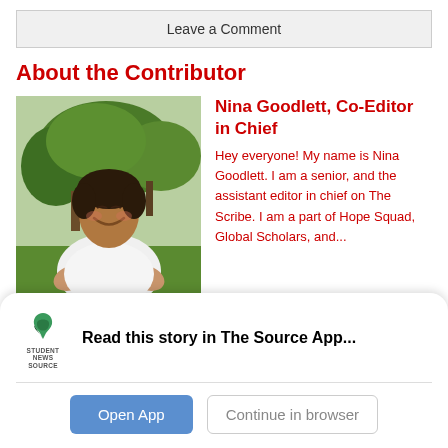Leave a Comment
About the Contributor
[Figure (photo): Photo of Nina Goodlett, a young woman in a white top smiling outdoors with trees in the background]
Nina Goodlett, Co-Editor in Chief
Hey everyone! My name is Nina Goodlett. I am a senior, and the assistant editor in chief on The Scribe. I am a part of Hope Squad, Global Scholars, and...
Read this story in The Source App...
Open App
Continue in browser